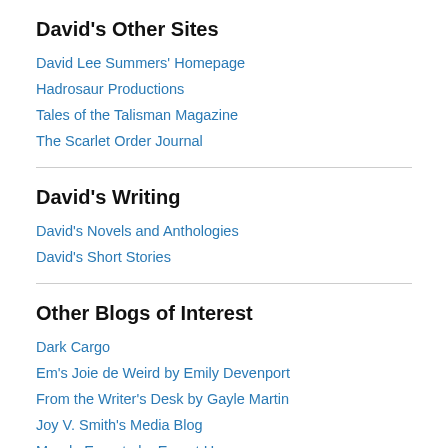David's Other Sites
David Lee Summers' Homepage
Hadrosaur Productions
Tales of the Talisman Magazine
The Scarlet Order Journal
David's Writing
David's Novels and Anthologies
David's Short Stories
Other Blogs of Interest
Dark Cargo
Em's Joie de Weird by Emily Devenport
From the Writer's Desk by Gayle Martin
Joy V. Smith's Media Blog
Mondo Ernesto by Ernest Hogan